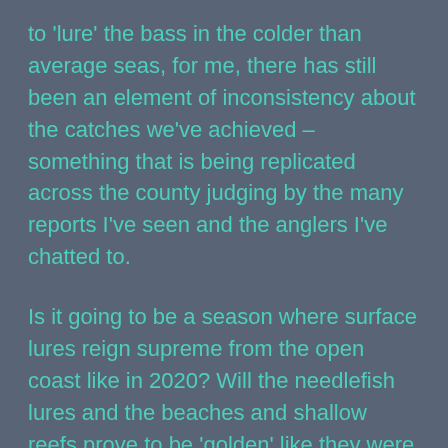to 'lure' the bass in the colder than average seas, for me, there has still been an element of inconsistency about the catches we've achieved – something that is being replicated across the county judging by the many reports I've seen and the anglers I've chatted to.
Is it going to be a season where surface lures reign supreme from the open coast like in 2020? Will the needlefish lures and the beaches and shallow reefs prove to be 'golden' like they were in 2017 + 2018? A real variety of marks and lure types much like 2019, or will it be 'paddle tail city' and the estuaries like 2021...? Only time will tell as, at the moment, it could be any of the precis above, all of them (I would LOVE that to occur!), or something entirely different in regards to a venue type that comes to the fore, and/or a new lure (or